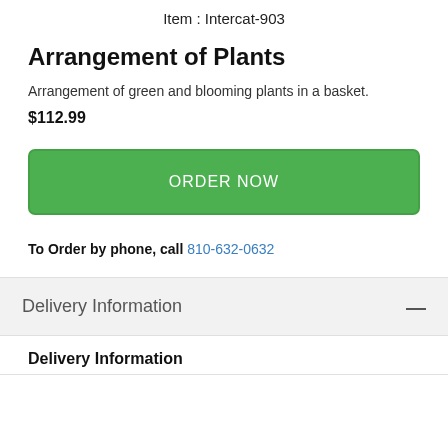Item : Intercat-903
Arrangement of Plants
Arrangement of green and blooming plants in a basket.
$112.99
ORDER NOW
To Order by phone, call 810-632-0632
Delivery Information
Delivery Information